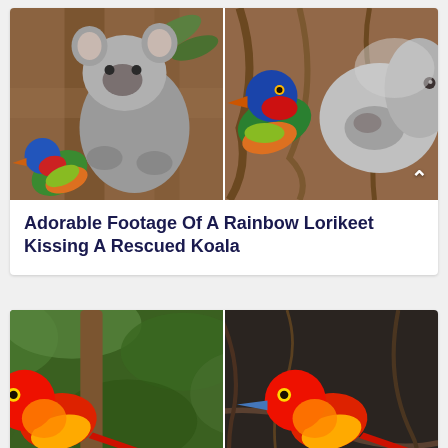[Figure (photo): Two-panel image: left panel shows a koala in a tree with a Rainbow Lorikeet parrot below it; right panel shows a close-up of the Rainbow Lorikeet appearing to kiss/touch the koala's nose, on a tree trunk background.]
Adorable Footage Of A Rainbow Lorikeet Kissing A Rescued Koala
[Figure (photo): Two-panel image: both panels show a red, orange and yellow bird (Sun Conure or similar) perched on a branch. Left panel has green leafy background, right panel has darker twiggy background.]